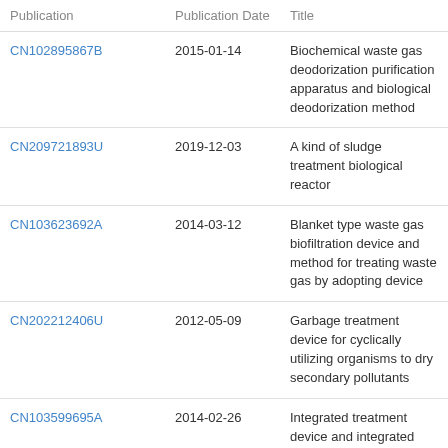| Publication | Publication Date | Title |
| --- | --- | --- |
| CN102895867B | 2015-01-14 | Biochemical waste gas deodorization purification apparatus and biological deodorization method |
| CN209721893U | 2019-12-03 | A kind of sludge treatment biological reactor |
| CN103623692A | 2014-03-12 | Blanket type waste gas biofiltration device and method for treating waste gas by adopting device |
| CN202212406U | 2012-05-09 | Garbage treatment device for cyclically utilizing organisms to dry secondary pollutants |
| CN103599695A | 2014-02-26 | Integrated treatment device and integrated treatment method of organic waste gas |
| CN208532383U | 2019-02-22 | A kind of antipollution anaerobic membrane bioreactor |